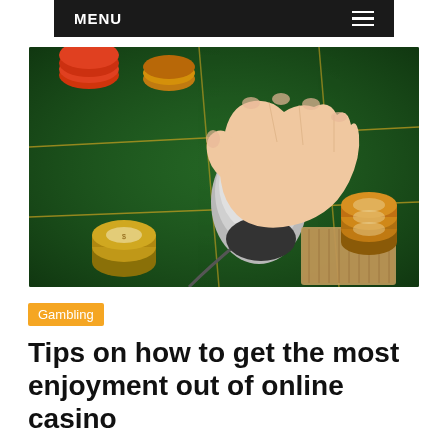MENU
[Figure (photo): A hand holding a computer mouse on a green casino table with poker chips and playing cards]
Gambling
Tips on how to get the most enjoyment out of online casino